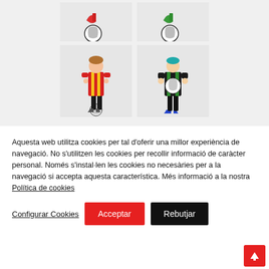[Figure (photo): Two photos at top: left shows soccer ball with red/pink shoe, right shows soccer ball with green shoe, both on white background]
[Figure (photo): Two photos: left shows a young boy in red/yellow striped soccer jersey with black pants standing on a ball; right shows a young boy in green/black goalkeeper kit holding a ball, wearing blue shoes]
Aquesta web utilitza cookies per tal d'oferir una millor experiència de navegació. No s'utilitzen les cookies per recollir informació de caràcter personal. Només s'instal·len les cookies no necesàries per a la navegació si accepta aquesta característica. Més informació a la nostra Política de cookies
Configurar Cookies
Acceptar
Rebutjar